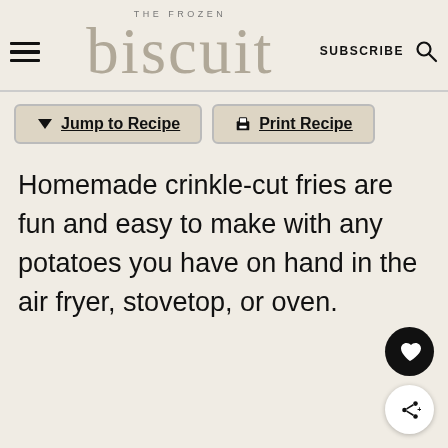THE FROZEN biscuit SUBSCRIBE
Jump to Recipe  Print Recipe
Homemade crinkle-cut fries are fun and easy to make with any potatoes you have on hand in the air fryer, stovetop, or oven.